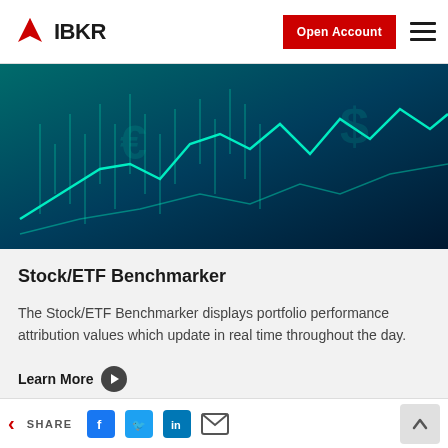IBKR — Open Account
[Figure (illustration): Dark teal/navy financial chart background with glowing green candlestick and line charts, currency symbols (euro, dollar) overlaid]
Stock/ETF Benchmarker
The Stock/ETF Benchmarker displays portfolio performance attribution values which update in real time throughout the day.
Learn More
SHARE (Facebook, Twitter, LinkedIn, Email) | Back | Up